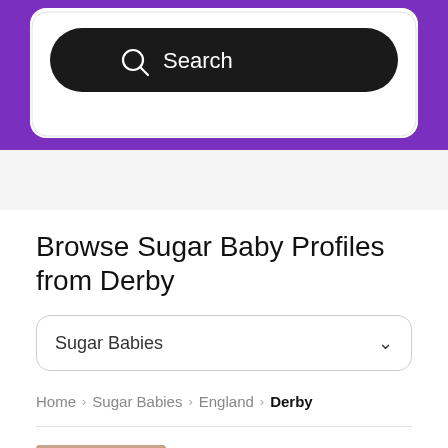[Figure (screenshot): Purple banner with white search card containing a dark search bar with magnifying glass icon and 'Search' text]
Browse Sugar Baby Profiles from Derby
[Figure (other): Dropdown selector showing 'Sugar Babies' with chevron arrow]
Home > Sugar Babies > England > Derby
[Figure (photo): Blurred profile photo of a young woman]
jade_... Age: 22
Sugar Baby
England, Derby
Online Recently